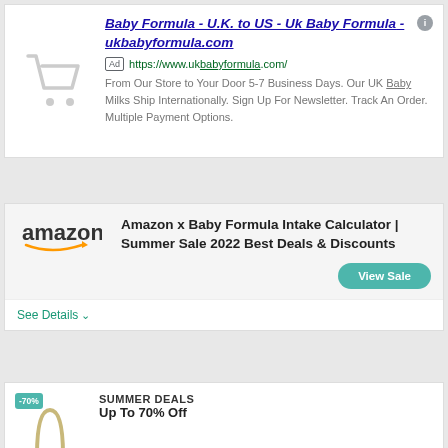[Figure (screenshot): Shopping cart icon in grey]
Baby Formula - U.K. to US - Uk Baby Formula - ukbabyformula.com
Ad https://www.ukbabyformula.com/
From Our Store to Your Door 5-7 Business Days. Our UK Baby Milks Ship Internationally. Sign Up For Newsletter. Track An Order. Multiple Payment Options.
[Figure (logo): Amazon logo with orange arrow]
Amazon x Baby Formula Intake Calculator | Summer Sale 2022 Best Deals & Discounts
View Sale
See Details
[Figure (illustration): Product image with -70% badge]
SUMMER DEALS
Up To 70% Off